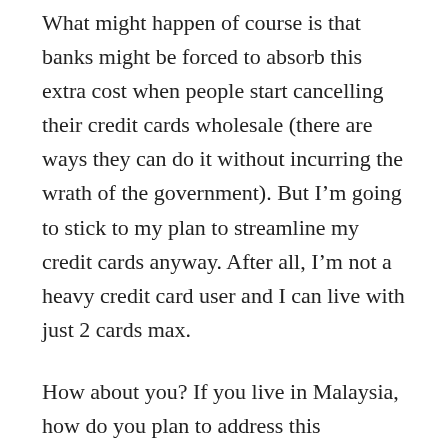What might happen of course is that banks might be forced to absorb this extra cost when people start cancelling their credit cards wholesale (there are ways they can do it without incurring the wrath of the government). But I'm going to stick to my plan to streamline my credit cards anyway. After all, I'm not a heavy credit card user and I can live with just 2 cards max.
How about you? If you live in Malaysia, how do you plan to address this imposition of taxes on your credit cards? Force the bank to absorb the tax or stick to canceling your card anyway? If you live outside of Malaysia, how many credit cards do you think you really need?